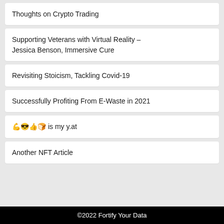Thoughts on Crypto Trading
Supporting Veterans with Virtual Reality – Jessica Benson, Immersive Cure
Revisiting Stoicism, Tackling Covid-19
Successfully Profiting From E-Waste in 2021
💪😎👍🍞 is my y.at
Another NFT Article
©2022 Fortify Your Data